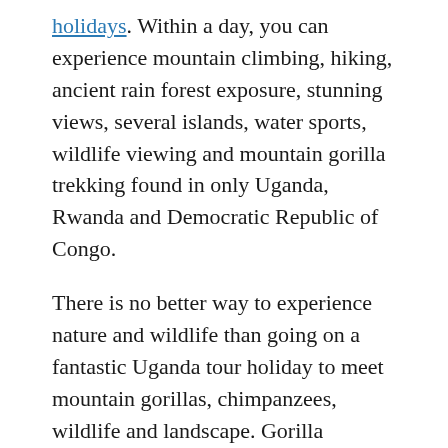holidays. Within a day, you can experience mountain climbing, hiking, ancient rain forest exposure, stunning views, several islands, water sports, wildlife viewing and mountain gorilla trekking found in only Uganda, Rwanda and Democratic Republic of Congo.
There is no better way to experience nature and wildlife than going on a fantastic Uganda tour holiday to meet mountain gorillas, chimpanzees, wildlife and landscape. Gorilla trekking is one of the best way to truly explore Uganda from its natural rain forests that stretch as fur as Rwanda border and Congo as the eyes can see to the beautiful relaxing islands of Lake Bunyonyi and wildlife paradise